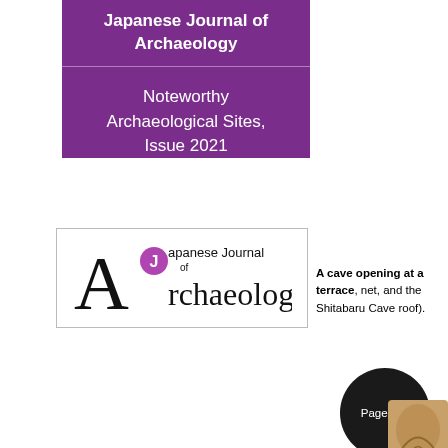Japanese Journal of Archaeology
Noteworthy Archaeological Sites, Issue 2021
[Figure (logo): Japanese Journal of Archaeology logo with stylized 'A' and 'J' characters in serif and sans-serif fonts]
A cave opening at a terrace, net, and the Shitabaru Cave roof).